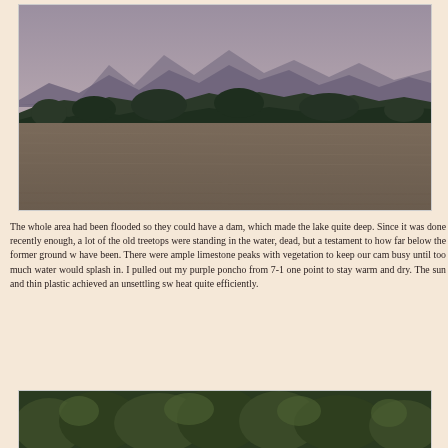[Figure (photo): Landscape photograph of a large lake or reservoir with choppy brown water in the foreground, a treeline of tropical jungle in the middle distance, and misty limestone karst mountains rising in the background under an overcast grey-purple sky.]
The whole area had been flooded so they could have a dam, which made the lake quite deep. Since it was done recently enough, a lot of the old treetops were standing in the water, dead, but a testament to how far below the former ground w have been. There were ample limestone peaks with vegetation to keep our cam busy until too much water would splash in. I pulled out my purple poncho from 7-1 one point to stay warm and dry. The sun and thin plastic achieved an unsettling sw heat quite efficiently.
[Figure (photo): Partial view of a second landscape photograph showing dense green tropical forest at the bottom of the page, partially cut off.]